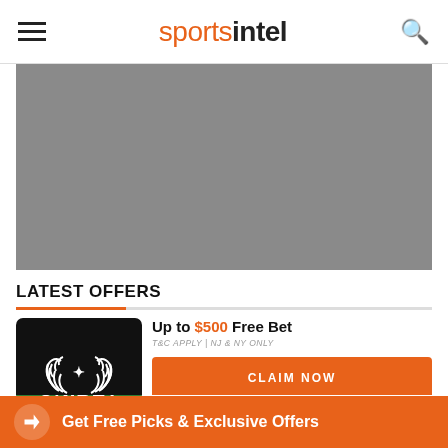sportsintel
[Figure (other): Gray placeholder image / banner]
LATEST OFFERS
Up to $500 Free Bet
T&C APPLY | NJ & NY ONLY
[Figure (logo): Caesars Casino & Sports black logo]
CLAIM NOW
Up To $20 Free + $250 Risk Free
T&C APPLY | NJ RESIDENTS ONLY
[Figure (logo): Unibet green logo]
CLAIM NOW
Get Free Picks & Exclusive Offers